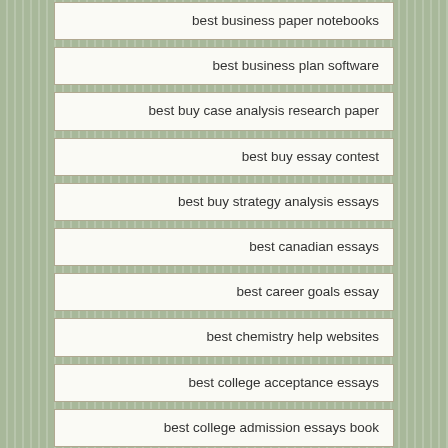best business paper notebooks
best business plan software
best buy case analysis research paper
best buy essay contest
best buy strategy analysis essays
best canadian essays
best career goals essay
best chemistry help websites
best college acceptance essays
best college admission essays book
best college admissions essays
best college application essay ever written